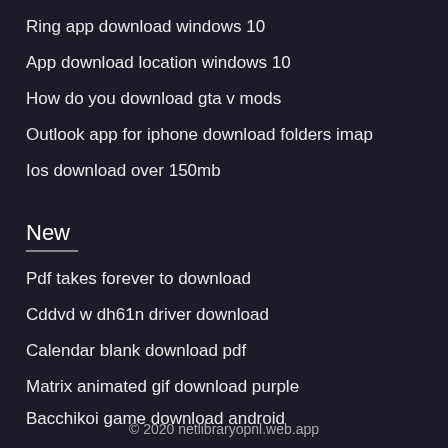Ring app download windows 10
App download location windows 10
How do you download gta v mods
Outlook app for iphone download folders imap
Ios download over 150mb
New
Pdf takes forever to download
Cddvd w dh61n driver download
Calendar blank download pdf
Matrix animated gif download purple
Bacchikoi game download android
© 2020 netlibraryopnl.web.app